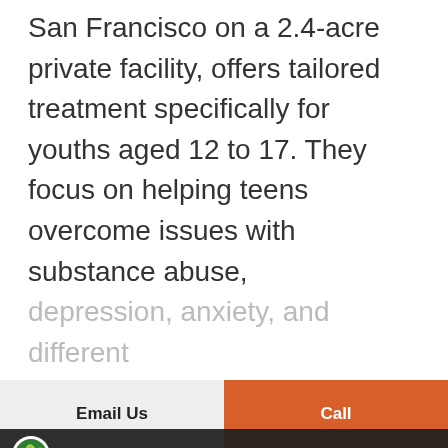San Francisco on a 2.4-acre private facility, offers tailored treatment specifically for youths aged 12 to 17. They focus on helping teens overcome issues with substance abuse, depression, anxiety, and different
Read More
[Figure (screenshot): Video thumbnail for 'Evolve Danville Teen Residential Tr...' with logo and aerial view of tree-covered facility]
Email Us
Call